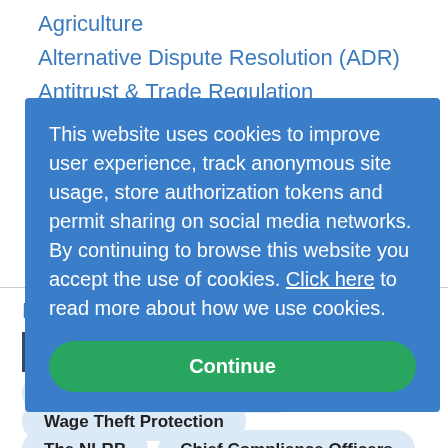Agriculture
Alternative Dispute Resolution (ADR)
Antitrust & Trade Regulation
Art, Entertainment, & Sports
Bankruptcy
Business Organizations
Business Torts
Civil Procedure
Find a Tax Author »
TRENDING NOW
Ransomware
RegTech
Wage Theft Protection
The NLRB
Chief Compliance Officers
This website uses cookies to improve user experience, track anonymous site usage, store authorization tokens and permit sharing on social media networks. By continuing to browse this website you accept the use of cookies. Click here to read more about how we use cookies.
Continue